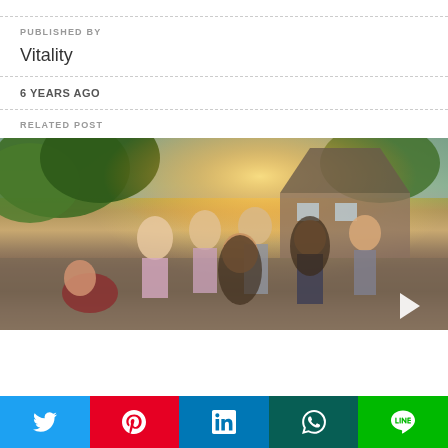PUBLISHED BY
Vitality
6 YEARS AGO
RELATED POST
[Figure (photo): Outdoor gathering of people including adults and teenagers in a suburban backyard setting with trees and a house in the background, warm sunlit afternoon scene]
Twitter | Pinterest | LinkedIn | WhatsApp | LINE